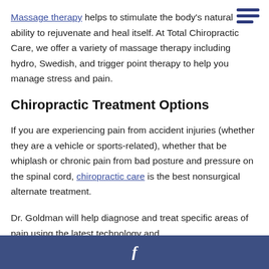Massage therapy helps to stimulate the body's natural ability to rejuvenate and heal itself. At Total Chiropractic Care, we offer a variety of massage therapy including hydro, Swedish, and trigger point therapy to help you manage stress and pain.
Chiropractic Treatment Options
If you are experiencing pain from accident injuries (whether they are a vehicle or sports-related), whether that be whiplash or chronic pain from bad posture and pressure on the spinal cord, chiropractic care is the best nonsurgical alternate treatment.
Dr. Goldman will help diagnose and treat specific areas of pain using the latest technology and
f